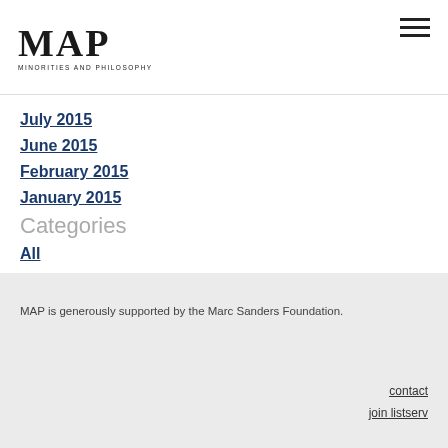MAP — Minorities and Philosophy
July 2015
June 2015
February 2015
January 2015
Categories
All
RSS Feed
MAP is generously supported by the Marc Sanders Foundation.
contact
join listserv